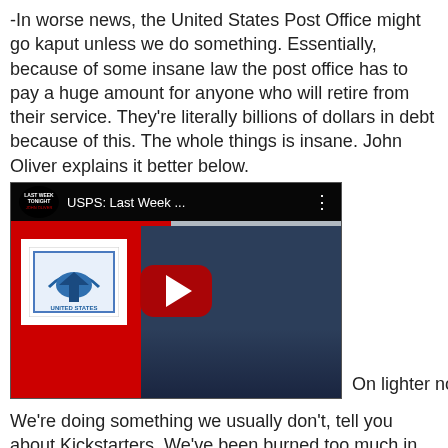-In worse news, the United States Post Office might go kaput unless we do something. Essentially, because of some insane law the post office has to pay a huge amount for anyone who will retire from their service. They're literally billions of dollars in debt because of this. The whole things is insane. John Oliver explains it better below.
[Figure (screenshot): YouTube video thumbnail for 'USPS: Last Week Tonight with John Oliver' - Last Week Tonight logo in top left, man in suit on right side, red USPS stamp on red background on left side, large red YouTube play button in center]
On lighter notes:
We're doing something we usually don't, tell you about Kickstarters. We've been burned too much in the past, LA Game Space, but this one seems legit and is based on Star Fox for the SNES.